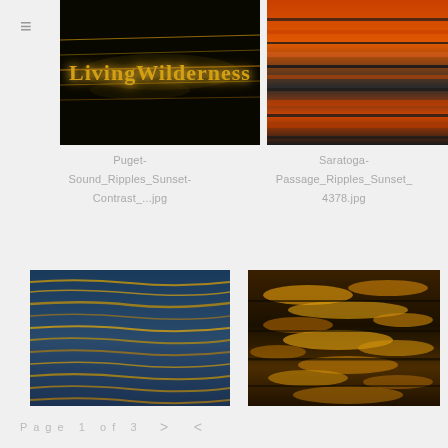[Figure (screenshot): LivingWilderness logo on dark background with golden light streaks]
[Figure (photo): Saratoga Passage ripples at sunset with orange and dark horizontal stripes]
Puget-Sound_Ripples_Sunset-Contrast_...jpg
Saratoga-Passage_Ripples_Sunset_4378.jpg
[Figure (photo): Saratoga Passage ripples at sunset with blue and golden horizontal wave patterns]
[Figure (photo): Puget Sound ripples glint close up with golden and dark textures]
Saratoga-Passage_Ripples_Sunset_4058.jpg
Puget-Sound_Ripples_Glint_CloseUp_09...jpg
Page 1 of 3  >  <